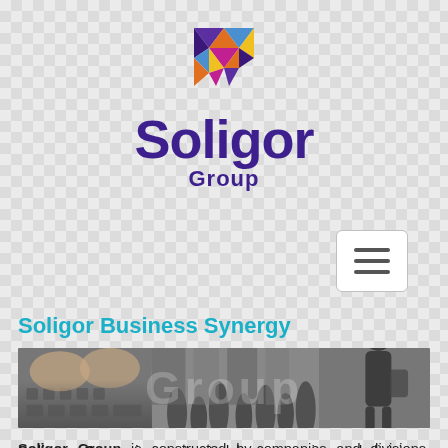[Figure (logo): Soligor Group logo with colorful triangular mosaic play-button mark above bold purple 'Soligor' wordmark and 'Group' subtitle]
[Figure (other): Hamburger menu icon button (three horizontal lines) in white rounded rectangle]
Soligor Business Synergy
[Figure (photo): Composite photo banner showing hands on keyboard (left), crowd/city scene (center), person walking with luggage (right), with 'Group' watermark text overlay]
Soligor Group is constructed by companies and divisions. The group operates in the global market in a variety of fields, among them; Defense, Cyber Solutions, Telecommunications,